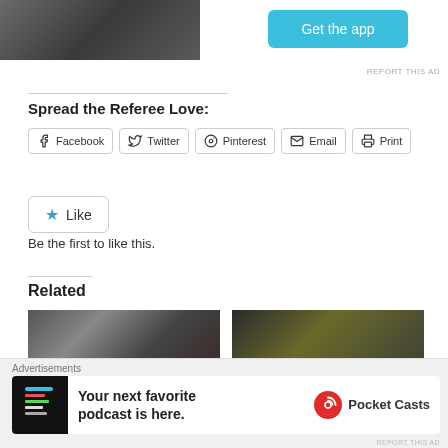[Figure (photo): Partial view of a stone or metal object on ground, top portion only visible]
[Figure (other): Blue 'Get the app' button]
REPORT THIS AD
Spread the Referee Love:
Facebook  Twitter  Pinterest  Email  Print
Like
Be the first to like this.
Related
[Figure (photo): Referee in dark uniform on a football pitch]
[Figure (photo): Referee in yellow uniform smiling on a football pitch]
Advertisements
[Figure (screenshot): Your next favorite podcast is here. Pocket Casts advertisement]